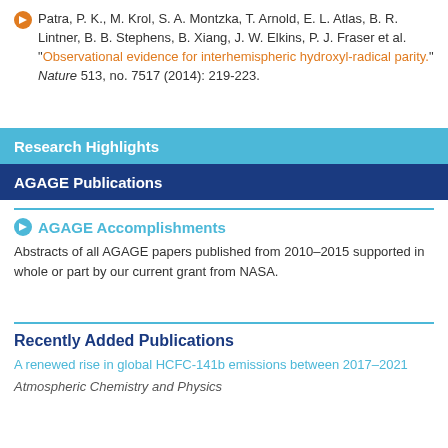Patra, P. K., M. Krol, S. A. Montzka, T. Arnold, E. L. Atlas, B. R. Lintner, B. B. Stephens, B. Xiang, J. W. Elkins, P. J. Fraser et al. "Observational evidence for interhemispheric hydroxyl-radical parity." Nature 513, no. 7517 (2014): 219-223.
Research Highlights
AGAGE Publications
AGAGE Accomplishments
Abstracts of all AGAGE papers published from 2010–2015 supported in whole or part by our current grant from NASA.
Recently Added Publications
A renewed rise in global HCFC-141b emissions between 2017–2021
Atmospheric Chemistry and Physics